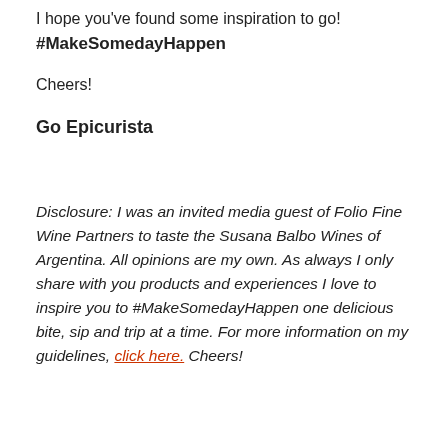I hope you've found some inspiration to go!
#MakeSomedayHappen
Cheers!
Go Epicurista
Disclosure: I was an invited media guest of Folio Fine Wine Partners to taste the Susana Balbo Wines of Argentina. All opinions are my own. As always I only share with you products and experiences I love to inspire you to #MakeSomedayHappen one delicious bite, sip and trip at a time. For more information on my guidelines, click here. Cheers!